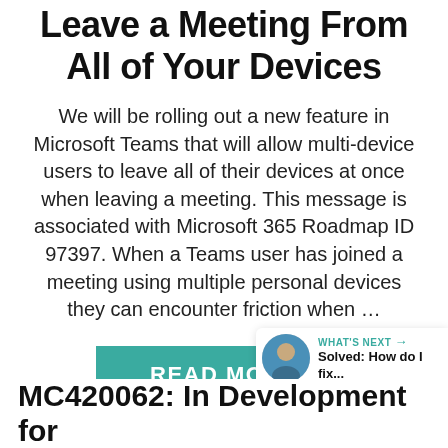Leave a Meeting From All of Your Devices
We will be rolling out a new feature in Microsoft Teams that will allow multi-device users to leave all of their devices at once when leaving a meeting. This message is associated with Microsoft 365 Roadmap ID 97397. When a Teams user has joined a meeting using multiple personal devices they can encounter friction when …
READ MORE
MC420062: In Development for